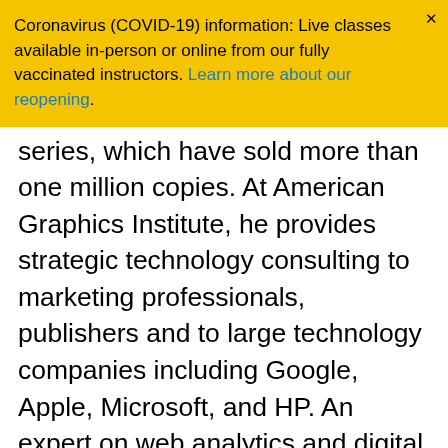Coronavirus (COVID-19) information: Live classes available in-person or online from our fully vaccinated instructors. Learn more about our reopening.
series, which have sold more than one million copies. At American Graphics Institute, he provides strategic technology consulting to marketing professionals, publishers and to large technology companies including Google, Apple, Microsoft, and HP. An expert on web analytics and digital marketing, he delivers Google Analytics classes along with workshops on digital marketing topics. He is also the author of more than 10 books on electronic publishing tools and technologies, including the Adobe Creative Cloud for Dummies.